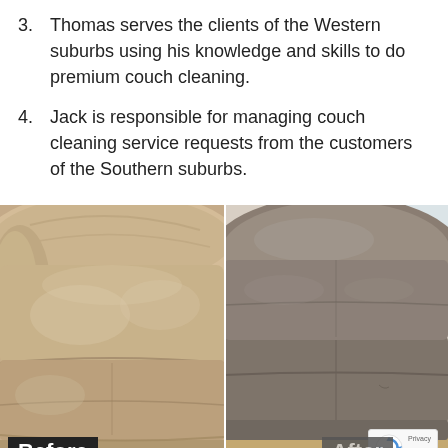3. Thomas serves the clients of the Western suburbs using his knowledge and skills to do premium couch cleaning.
4. Jack is responsible for managing couch cleaning service requests from the customers of the Southern suburbs.
[Figure (photo): Before and after comparison photo of a leather couch cleaning. Left side shows a faded, dirty beige/tan leather couch. Right side shows the same couch after cleaning, with restored darker brown color. 'Before' label in bottom-left, 'After' label partially visible in bottom-right. reCAPTCHA badge visible in bottom-right corner.]